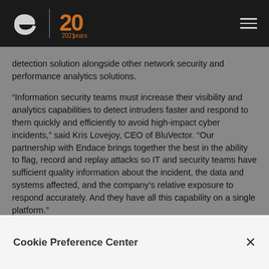Endace logo — 20 years — navigation
detection solution alongside other network security and performance analytics solutions.
“Information security teams must increase their visibility and analytics capabilities to detect intruders faster and respond to them quickly and efficiently to avoid high-impact cyber incidents,” said Kris Lovejoy, CEO of BluVector. “Our partnership with Endace brings together the best in the ability to flag, record and replay attacks so IT and security teams have sufficient quality information about the incident, the data and systems affected, and the company’s relative exposure to respond accurately. And they have all this capability on a single platform.”
This solution is available immediately to E…
Cookie Preference Center